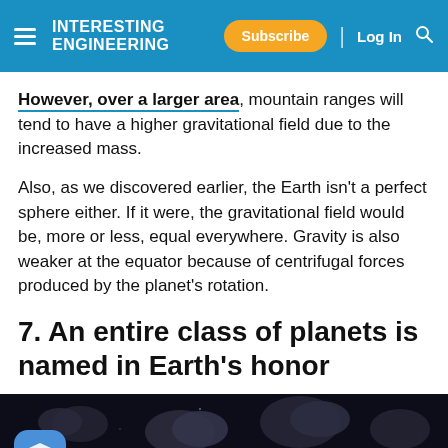INTERESTING ENGINEERING | Subscribe | Log In
However, over a larger area, mountain ranges will tend to have a higher gravitational field due to the increased mass.
Also, as we discovered earlier, the Earth isn't a perfect sphere either. If it were, the gravitational field would be, more or less, equal everywhere. Gravity is also weaker at the equator because of centrifugal forces produced by the planet's rotation.
7. An entire class of planets is named in Earth's honor
[Figure (photo): Dark space image showing rocky asteroid-like objects against a dark background with a faint blue planet or horizon visible at the bottom]